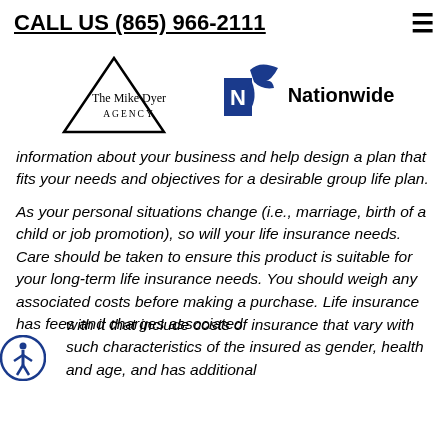CALL US (865) 966-2111
[Figure (logo): The Mike Dyer Agency logo (triangle shape with text) and Nationwide insurance logo (eagle with N) side by side]
information about your business and help design a plan that fits your needs and objectives for a desirable group life plan.
As your personal situations change (i.e., marriage, birth of a child or job promotion), so will your life insurance needs. Care should be taken to ensure this product is suitable for your long-term life insurance needs. You should weigh any associated costs before making a purchase. Life insurance has fees and charges associated with it that include costs of insurance that vary with such characteristics of the insured as gender, health and age, and has additional